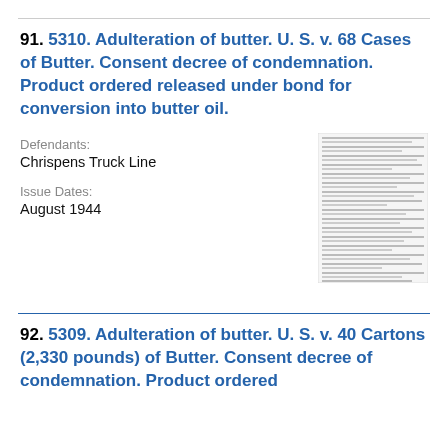91. 5310. Adulteration of butter. U. S. v. 68 Cases of Butter. Consent decree of condemnation. Product ordered released under bond for conversion into butter oil.
Defendants: Chrispens Truck Line
Issue Dates: August 1944
[Figure (screenshot): Thumbnail image of a document page with dense text]
92. 5309. Adulteration of butter. U. S. v. 40 Cartons (2,330 pounds) of Butter. Consent decree of condemnation. Product ordered